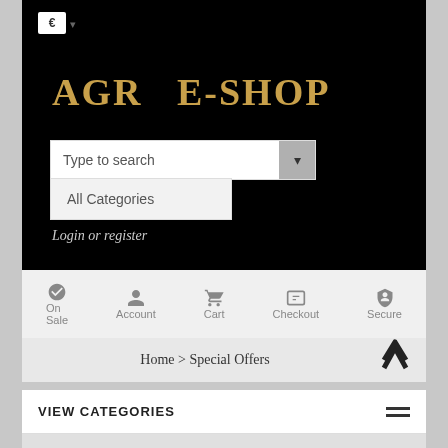AGR E-SHOP
Type to search
All Categories
Login or register
On Sale
Account
Cart
Checkout
Secure
Home > Special Offers
VIEW CATEGORIES